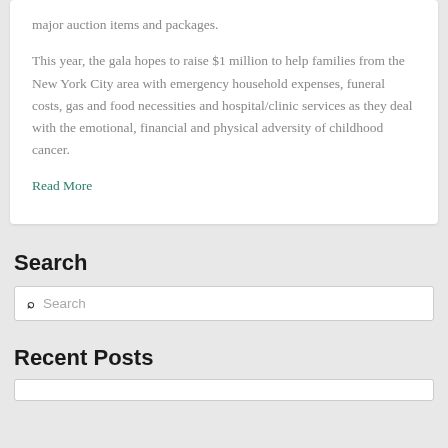major auction items and packages.
This year, the gala hopes to raise $1 million to help families from the New York City area with emergency household expenses, funeral costs, gas and food necessities and hospital/clinic services as they deal with the emotional, financial and physical adversity of childhood cancer.
Read More
Search
Recent Posts